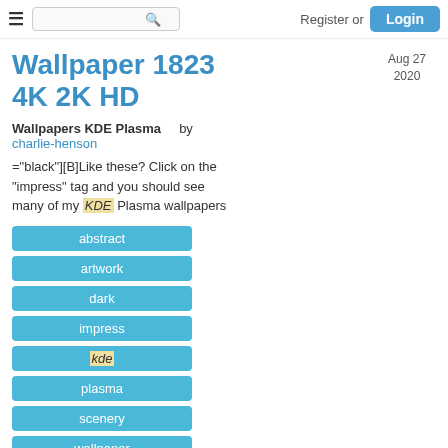Register or Login
Wallpaper 1823 4K 2K HD
Aug 27 2020
Wallpapers KDE Plasma    by charlie-henson
="black"][B]Like these? Click on the "impress" tag and you should see many of my KDE Plasma wallpapers
abstract
artwork
dark
impress
kde
plasma
scenery
wallpaper
7.
[Figure (photo): Thumbnail photo of trees/forest at dusk with mountain scenery]
Plasma Desktop Wallpaper 1826
6.4
Aug 24